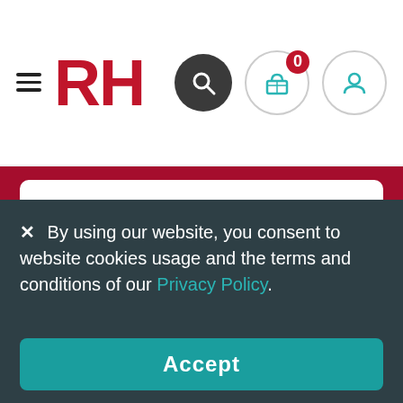RH website header with logo, search, cart (0), and user icons
First Name
Last Name
Email
Subscribe
× By using our website, you consent to website cookies usage and the terms and conditions of our Privacy Policy.
Accept